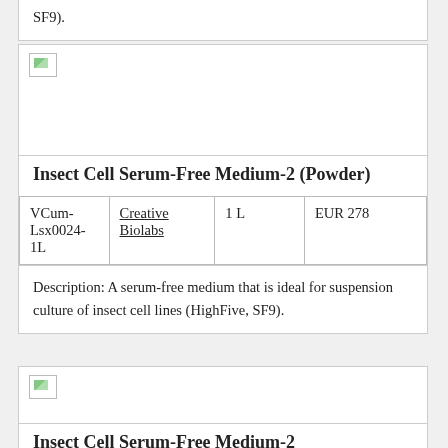SF9).
[Figure (photo): Broken image placeholder for product photo]
Insect Cell Serum-Free Medium-2 (Powder)
| VCum-Lsx0024-1L | Creative Biolabs | 1 L | EUR 278 |
Description: A serum-free medium that is ideal for suspension culture of insect cell lines (HighFive, SF9).
[Figure (photo): Broken image placeholder for product photo]
Insect Cell Serum-Free Medium-2